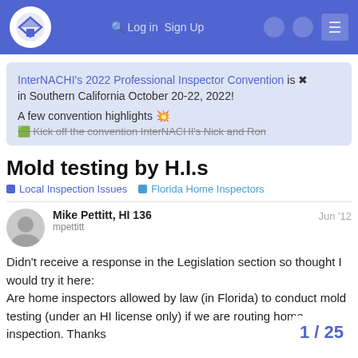InterNACHI navigation bar
InterNACHI's 2022 Professional Inspector Convention is in Southern California October 20-22, 2022!
A few convention highlights 💥
🟩 Kick off the convention InterNACHI's Nick and Ron
Mold testing by H.I.s
Local Inspection Issues
Florida Home Inspectors
Mike Pettitt, HI 136 — Jun '12 — mpettitt
Didn't receive a response in the Legislation section so thought I would try it here:
Are home inspectors allowed by law (in Florida) to conduct mold testing (under an HI license only) if we are routing home inspection. Thanks
1 / 25